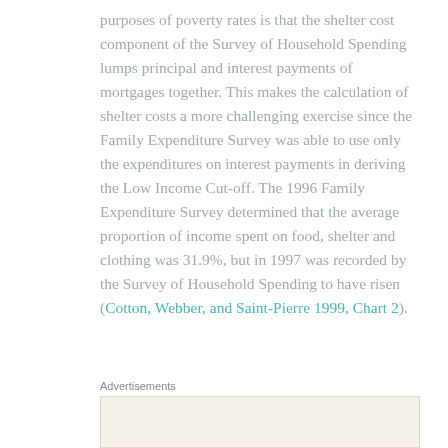purposes of poverty rates is that the shelter cost component of the Survey of Household Spending lumps principal and interest payments of mortgages together. This makes the calculation of shelter costs a more challenging exercise since the Family Expenditure Survey was able to use only the expenditures on interest payments in deriving the Low Income Cut-off. The 1996 Family Expenditure Survey determined that the average proportion of income spent on food, shelter and clothing was 31.9%, but in 1997 was recorded by the Survey of Household Spending to have risen (Cotton, Webber, and Saint-Pierre 1999, Chart 2).
Advertisements